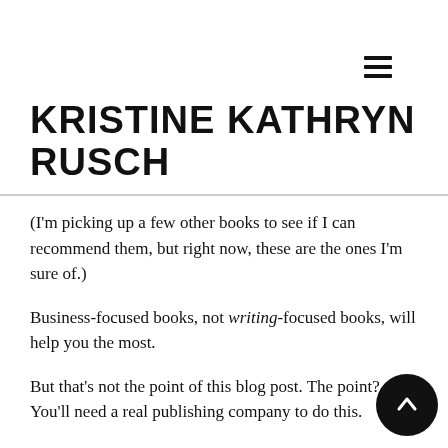☰ (hamburger menu icon)
KRISTINE KATHRYN RUSCH
(I'm picking up a few other books to see if I can recommend them, but right now, these are the ones I'm sure of.)
Business-focused books, not writing-focused books, will help you the most.
But that's not the point of this blog post. The point? You'll need a real publishing company to do this.
I've started two publishing companies, and advised several others. It's not as hard as it sounds. It is more work than you might think, however. And the learning curve is always there,